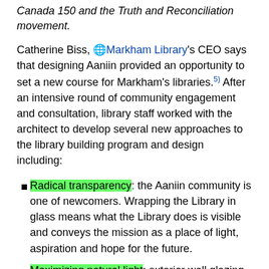Canada 150 and the Truth and Reconciliation movement.
Catherine Biss, 🌐 Markham Library's CEO says that designing Aaniin provided an opportunity to set a new course for Markham's libraries.5) After an intensive round of community engagement and consultation, library staff worked with the architect to develop several new approaches to the library building program and design including:
Radical transparency: the Aaniin community is one of newcomers. Wrapping the Library in glass means what the Library does is visible and conveys the mission as a place of light, aspiration and hope for the future.
Maximizing natural light: exterior wall glazing fills the library with natural light, with the deep roof overhang minimizing glare and the need for window blinds.
MA soaring wooden roof structure designed to inspire and welcome a diverse community of